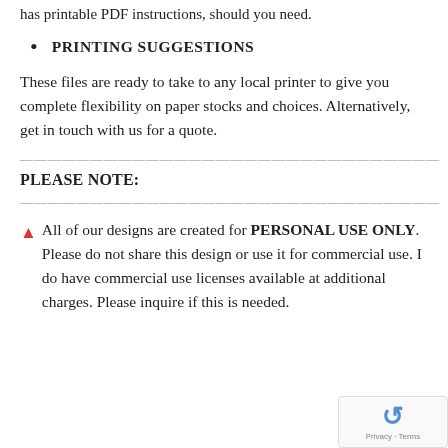has printable PDF instructions, should you need.
PRINTING SUGGESTIONS
These files are ready to take to any local printer to give you complete flexibility on paper stocks and choices. Alternatively, get in touch with us for a quote.
————————————————————————
PLEASE NOTE:
————————————————————————
▲ All of our designs are created for PERSONAL USE ONLY. Please do not share this design or use it for commercial use. I do have commercial use licenses available at additional charges. Please inquire if this is needed.